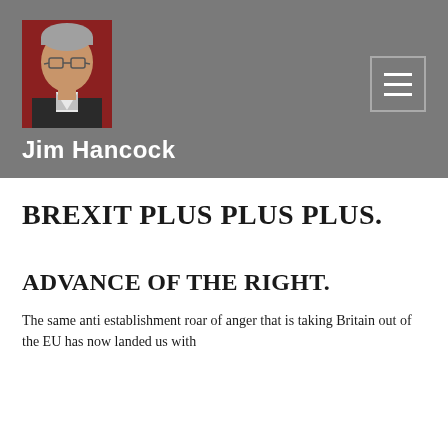[Figure (photo): Headshot of Jim Hancock, a middle-aged man wearing glasses and a dark suit with white shirt, against a dark red background]
Jim Hancock
BREXIT PLUS PLUS PLUS.
ADVANCE OF THE RIGHT.
The same anti establishment roar of anger that is taking Britain out of the EU has now landed us with